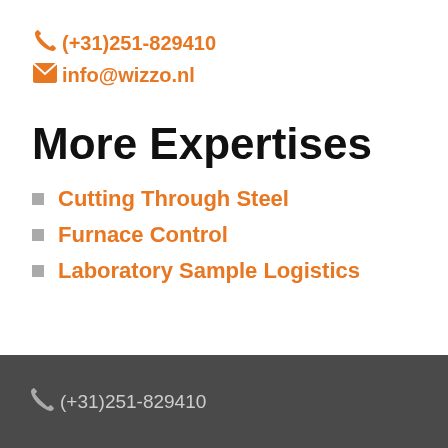(+31)251-829410  info@wizzo.nl
More Expertises
Cutting Through Steel
Furnace Control
Laboratory Sample Logistics
(+31)251-829410